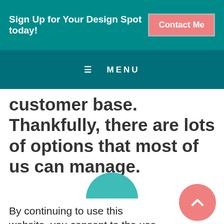Sign Up for Your Design Spot today!
Contact Me
≡ MENU
customer base. Thankfully, there are lots of options that most of us can manage.
By continuing to use this website, you consent to the use of cookies in accordance with our Cookie Policy.
ACCEPT
latform
ce,
ions and